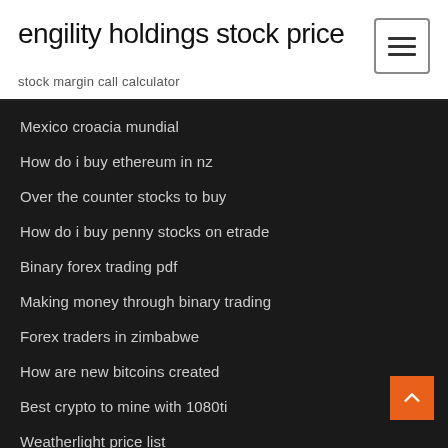engility holdings stock price
stock margin call calculator
Mexico croacia mundial
How do i buy ethereum in nz
Over the counter stocks to buy
How do i buy penny stocks on etrade
Binary forex trading pdf
Making money through binary trading
Forex traders in zimbabwe
How are new bitcoins created
Best crypto to mine with 1080ti
Weatherlight price list